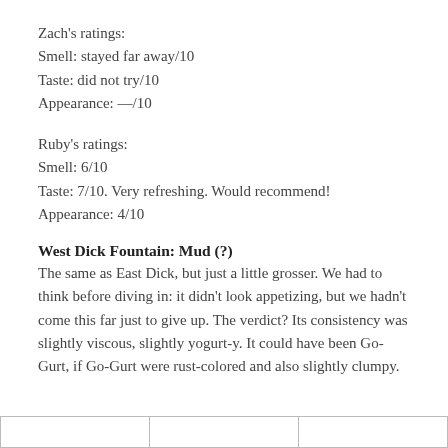Zach's ratings:
Smell: stayed far away/10
Taste: did not try/10
Appearance: —/10
Ruby's ratings:
Smell: 6/10
Taste: 7/10. Very refreshing. Would recommend!
Appearance: 4/10
West Dick Fountain: Mud (?)
The same as East Dick, but just a little grosser. We had to think before diving in: it didn’t look appetizing, but we hadn’t come this far just to give up. The verdict? Its consistency was slightly viscous, slightly yogurt-y. It could have been Go-Gurt, if Go-Gurt were rust-colored and also slightly clumpy.
|  |  |  |